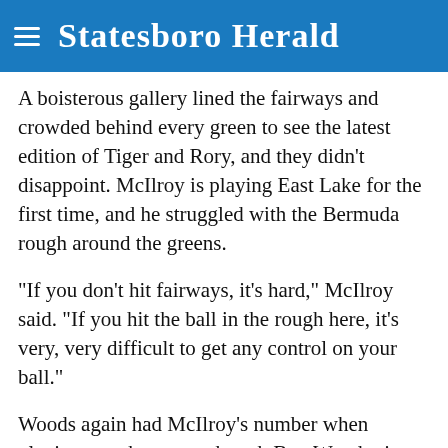Statesboro Herald
A boisterous gallery lined the fairways and crowded behind every green to see the latest edition of Tiger and Rory, and they didn't disappoint. McIlroy is playing East Lake for the first time, and he struggled with the Bermuda rough around the greens.
"If you don't hit fairways, it's hard," McIlroy said. "If you hit the ball in the rough here, it's very, very difficult to get any control on your ball."
Woods again had McIlroy's number when playing together, even though Boy Wonder is winning more trophies. Woods has posted the lower score in four of the five rounds they have played together in the playoffs. The exception was Crooked Stick, when McIlroy opened with a 64 and Woods had a 65.